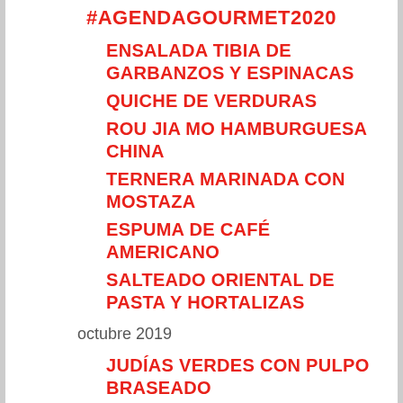#AGENDAGOURMET2020
ENSALADA TIBIA DE GARBANZOS Y ESPINACAS
QUICHE DE VERDURAS
ROU JIA MO HAMBURGUESA CHINA
TERNERA MARINADA CON MOSTAZA
ESPUMA DE CAFÉ AMERICANO
SALTEADO ORIENTAL DE PASTA Y HORTALIZAS
octubre 2019
JUDÍAS VERDES CON PULPO BRASEADO
ENDIVIAS AL GRATÉN
TORTILLA CON ALCACHOFAS A LA DUXELLE
FISH PIE